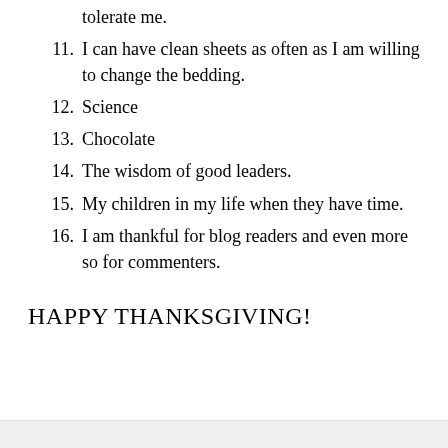tolerate me.
11. I can have clean sheets as often as I am willing to change the bedding.
12. Science
13. Chocolate
14. The wisdom of good leaders.
15. My children in my life when they have time.
16. I am thankful for blog readers and even more so for commenters.
HAPPY THANKSGIVING!